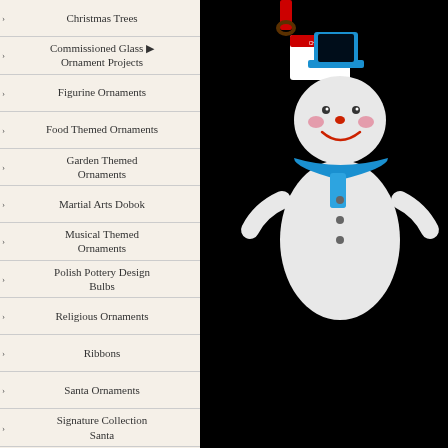Christmas Trees
Commissioned Glass Ornament Projects
Figurine Ornaments
Food Themed Ornaments
Garden Themed Ornaments
Martial Arts Dobok
Musical Themed Ornaments
Polish Pottery Design Bulbs
Religious Ornaments
Ribbons
Santa Ornaments
Signature Collection Santa
Snowman Ornaments
Space Themed Ornaments
Polish Pottery
Magnets / Religious
[Figure (photo): A white glass snowman ornament with blue top hat, blue scarf, rosy cheeks, red nose, and a price tag, hanging against a black background.]